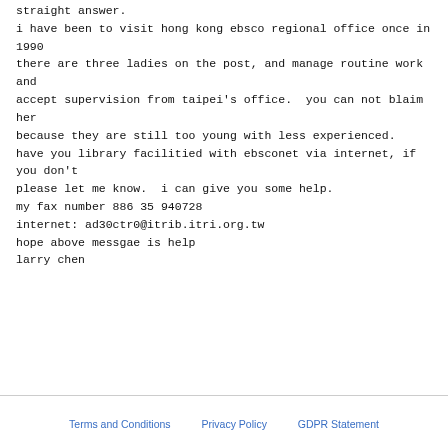straight answer.
i have been to visit hong kong ebsco regional office once in 1990
there are three ladies on the post, and manage routine work and
accept supervision from taipei's office.  you can not blaim her
because they are still too young with less experienced.
have you library facilitied with ebsconet via internet, if you don't
please let me know.  i can give you some help.
my fax number 886 35 940728
internet: ad30ctr0@itrib.itri.org.tw
hope above messgae is help
larry chen
Terms and Conditions   Privacy Policy   GDPR Statement